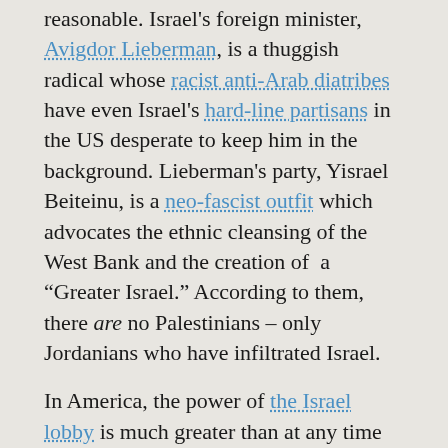reasonable. Israel's foreign minister, Avigdor Lieberman, is a thuggish radical whose racist anti-Arab diatribes have even Israel's hard-line partisans in the US desperate to keep him in the background. Lieberman's party, Yisrael Beiteinu, is a neo-fascist outfit which advocates the ethnic cleansing of the West Bank and the creation of  a "Greater Israel." According to them, there are no Palestinians – only Jordanians who have infiltrated Israel.
In America, the power of the Israel lobby is much greater than at any time in the past, and certainly since the 1967 war. We are faced, here in this country, with the extraordinary spectacle of a US President confronting a foreign leader with a list of reasonable requests – negotiation in good faith, the abandonment of encroaching "settlements," an end to the arbitrary humiliations endured by a people under